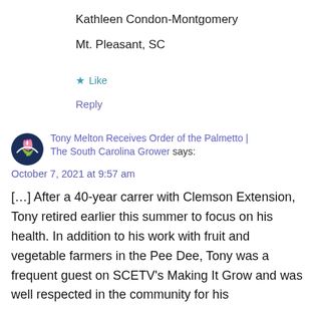Kathleen Condon-Montgomery
Mt. Pleasant, SC
★ Like
Reply
Tony Melton Receives Order of the Palmetto | The South Carolina Grower says:
October 7, 2021 at 9:57 am
[…] After a 40-year carrer with Clemson Extension, Tony retired earlier this summer to focus on his health. In addition to his work with fruit and vegetable farmers in the Pee Dee, Tony was a frequent guest on SCETV's Making It Grow and was well respected in the community for his [...]